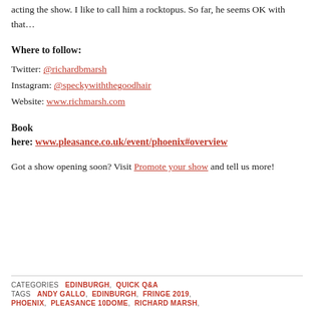acting the show. I like to call him a rocktopus. So far, he seems OK with that…
Where to follow:
Twitter: @richardbmarsh
Instagram: @speckywiththegoodhair
Website: www.richmarsh.com
Book here:
www.pleasance.co.uk/event/phoenix#overview
Got a show opening soon? Visit Promote your show and tell us more!
CATEGORIES  EDINBURGH, QUICK Q&A
TAGS  ANDY GALLO, EDINBURGH, FRINGE 2019, PHOENIX, PLEASANCE 10DOME, RICHARD MARSH,